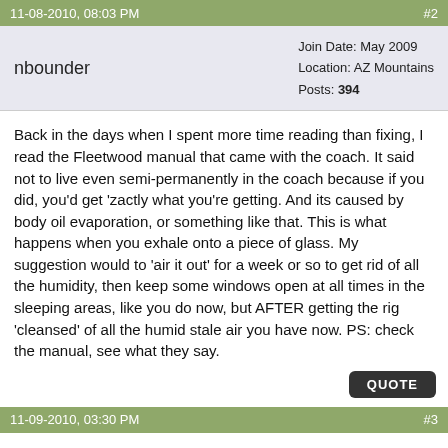11-08-2010, 08:03 PM   #2
nbounder
Join Date: May 2009
Location: AZ Mountains
Posts: 394
Back in the days when I spent more time reading than fixing, I read the Fleetwood manual that came with the coach. It said not to live even semi-permanently in the coach because if you did, you'd get 'zactly what you're getting. And its caused by body oil evaporation, or something like that. This is what happens when you exhale onto a piece of glass. My suggestion would to 'air it out' for a week or so to get rid of all the humidity, then keep some windows open at all times in the sleeping areas, like you do now, but AFTER getting the rig 'cleansed' of all the humid stale air you have now. PS: check the manual, see what they say.
11-09-2010, 03:30 PM   #3